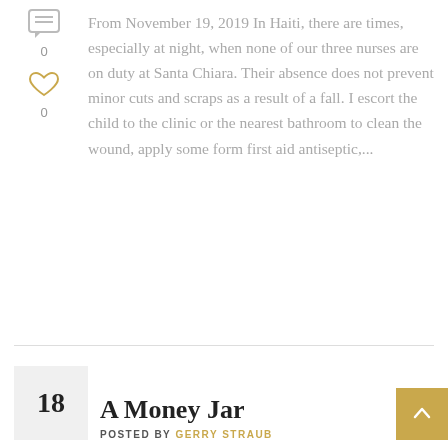[Figure (illustration): Comment icon (speech bubble with lines)]
0
[Figure (illustration): Heart/like icon outline in gold/yellow]
0
From November 19, 2019 In Haiti, there are times, especially at night, when none of our three nurses are on duty at Santa Chiara. Their absence does not prevent minor cuts and scraps as a result of a fall. I escort the child to the clinic or the nearest bathroom to clean the wound, apply some form first aid antiseptic,...
A Money Jar
18
POSTED BY GERRY STRAUB